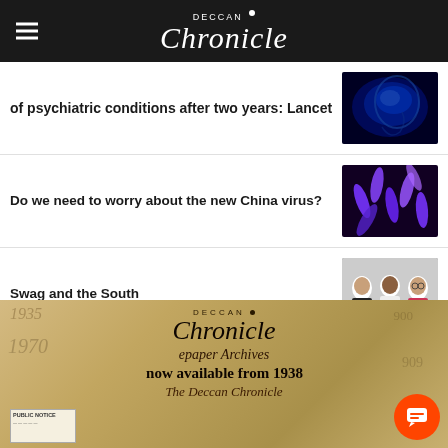Deccan Chronicle
of psychiatric conditions after two years: Lancet
Do we need to worry about the new China virus?
Swag and the South
[Figure (illustration): Deccan Chronicle epaper Archives — now available from 1938, with The Deccan Chronicle old masthead and vintage paper texture]
epaper Archives
now available from 193…